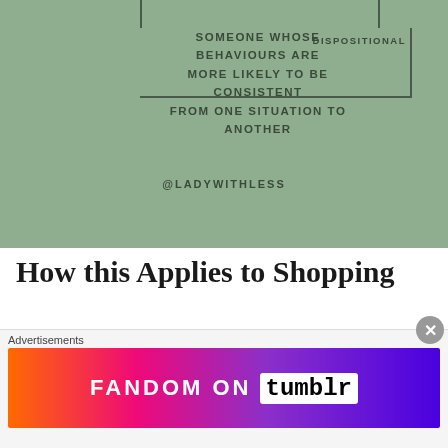[Figure (infographic): Green background infographic diagram with bracket lines and a box on the right side. Text reads: SOMEONE WHOSE BEHAVIOURS ARE MORE LIKELY TO BE CONSISTENT FROM ONE SITUATION TO ANOTHER with label DISPOSITIONAL on the right.]
@LADYWITHLESS
How this Applies to Shopping
How this may apply to shopping depends on how someone can choose to react to sales, bargain finds, and more. For the sake of not
[Figure (infographic): Advertisement banner for FANDOM ON tumblr with colorful gradient background (orange to purple) with white doodles.]